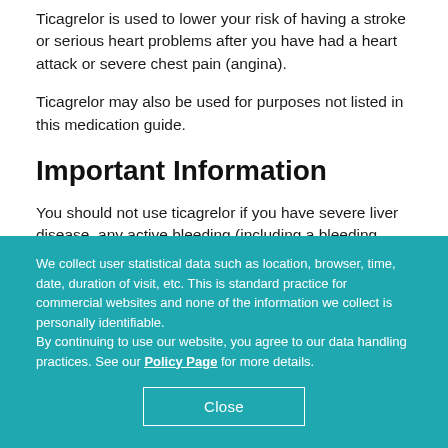Ticagrelor is used to lower your risk of having a stroke or serious heart problems after you have had a heart attack or severe chest pain (angina).
Ticagrelor may also be used for purposes not listed in this medication guide.
Important Information
You should not use ticagrelor if you have severe liver disease, any active bleeding (including a bleeding stomach ulcer), or a history of bleeding in the brain. Do not use this medicine just before heart bypass surgery (coronary artery
We collect user statistical data such as location, browser, time, date, duration of visit, etc. This is standard practice for commercial websites and none of the information we collect is personally identifiable.
By continuing to use our website, you agree to our data handling practices. See our Policy Page for more details.
Close